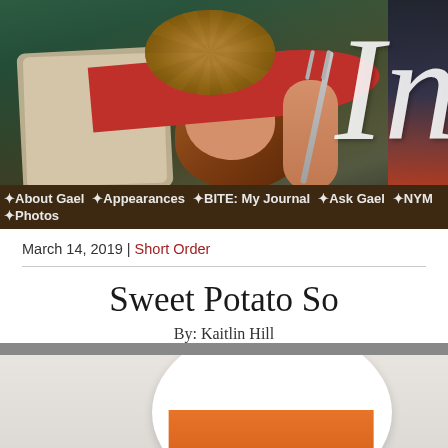[Figure (photo): Website header banner showing a woman in a large red-brimmed hat with gold/textured crown, holding a fork with red-painted nails, sitting against pillows and teal curtains. Large italic letter 'In' visible on the right side.]
✦About Gael ✦Appearances ✦BITE: My Journal ✦Ask Gael ✦NYM ✦Photos
March 14, 2019 | Short Order
Sweet Potato So
By: Kaitlin Hill
[Figure (photo): Photo of a white bowl containing bright orange sweet potato soup, garnished with a green herb, viewed from above on a light marble surface.]